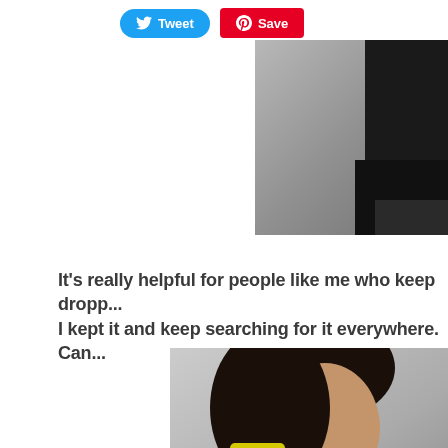[Figure (screenshot): Social media sharing buttons: a blue 'Tweet' button with Twitter bird icon and a red 'Save' button with Pinterest logo]
[Figure (photo): Partial photo showing a person in black clothing, cropped showing torso/arm area against a grey background]
It's really helpful for people like me who keep dropp... I kept it and keep searching for it everywhere. Can...
[Figure (photo): Woman with dark hair holding a yellow phone case up to her ear, photographed in profile against a grey background]